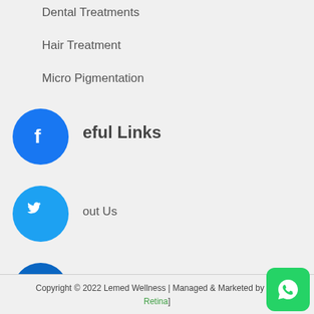Dental Treatments
Hair Treatment
Micro Pigmentation
Useful Links
About Us
Contact Us
[Figure (infographic): Social media circular icon buttons: Facebook (blue), Twitter (blue), LinkedIn (blue), dark icon, plus/more button; Instagram and LinkedIn green square icons]
Copyright © 2022 Lemed Wellness | Managed & Marketed by [Fx Retina]